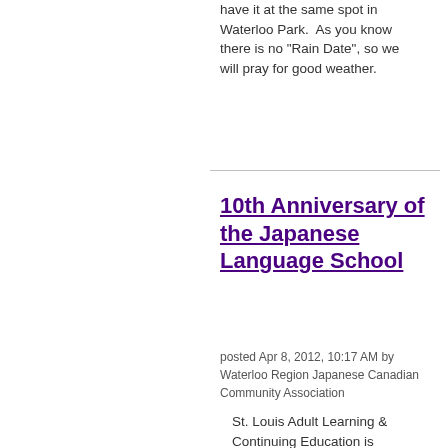have it at the same spot in Waterloo Park.  As you know there is no "Rain Date", so we will pray for good weather.
10th Anniversary of the Japanese Language School
posted Apr 8, 2012, 10:17 AM by Waterloo Region Japanese Canadian Community Association
St. Louis Adult Learning & Continuing Education is celebrating the 10th Anniversary of the Japanese Language School on Saturday May 5, 2012. A fun and educational program of events has been planned.  Please open the attached PDF file to see all the details in the flyer. You don't have to be a